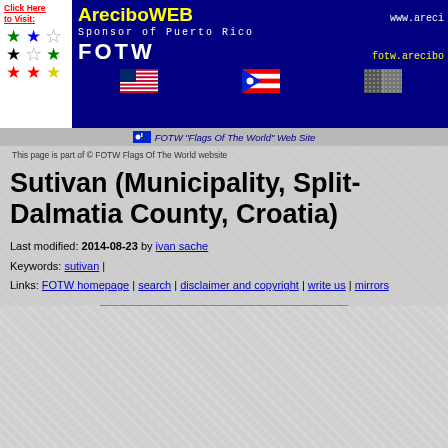[Figure (screenshot): AreciboWEB banner with stars logo on left, site title, sponsor text, FOTW links, and flag icons on dark blue background]
FOTW "Flags Of The World" Web Site
This page is part of © FOTW Flags Of The World website
Sutivan (Municipality, Split-Dalmatia County, Croatia)
Last modified: 2014-08-23 by ivan sache
Keywords: sutivan |
Links: FOTW homepage | search | disclaimer and copyright | write us | mirrors